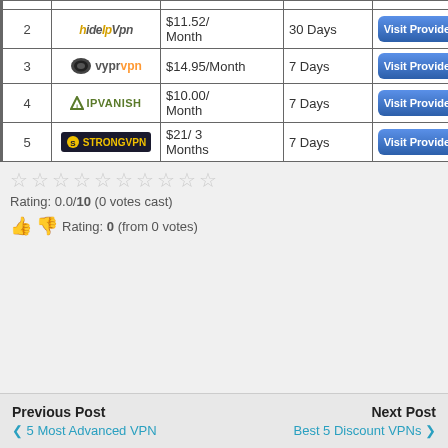| # | Provider | Price | Trial | Action |
| --- | --- | --- | --- | --- |
| 2 | HideIPVPN | $11.52/Month | 30 Days | Visit Provider |
| 3 | VyprVPN | $14.95/Month | 7 Days | Visit Provider |
| 4 | IPVanish | $10.00/Month | 7 Days | Visit Provider |
| 5 | StrongVPN | $21/3 Months | 7 Days | Visit Provider |
Rating: 0.0/10 (0 votes cast)
Rating: 0 (from 0 votes)
Previous Post
< 5 Most Advanced VPN
Next Post
Best 5 Discount VPNs >